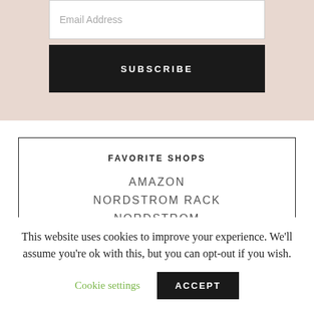Email Address
SUBSCRIBE
FAVORITE SHOPS
AMAZON
NORDSTROM RACK
NORDSTROM
This website uses cookies to improve your experience. We'll assume you're ok with this, but you can opt-out if you wish.
Cookie settings
ACCEPT